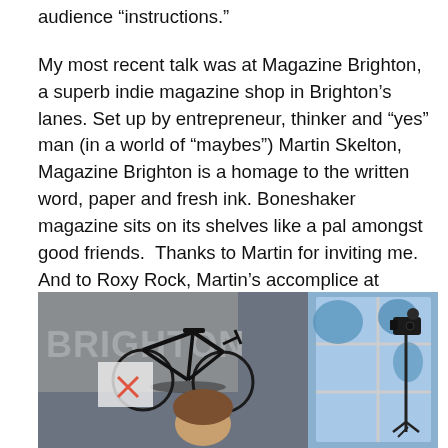audience “instructions.”
My most recent talk was at Magazine Brighton, a superb indie magazine shop in Brighton’s lanes. Set up by entrepreneur, thinker and “yes” man (in a world of “maybes”) Martin Skelton, Magazine Brighton is a homage to the written word, paper and fresh ink. Boneshaker magazine sits on its shelves like a pal amongst good friends.  Thanks to Martin for inviting me. And to Roxy Rock, Martin’s accomplice at Magazine Brighton, for helping to make it a memorable night and for undeniably having the coolest name in the South East.
[Figure (photo): Indoor photo showing a bicycle mounted or displayed inside a shop space with 'BRIGHTON' text visible on a wall/sign. A person with curly hair is partially visible in the foreground. Camera equipment on a tripod is visible on the right side. The right portion shows a window with blue-tinted light coming through.]